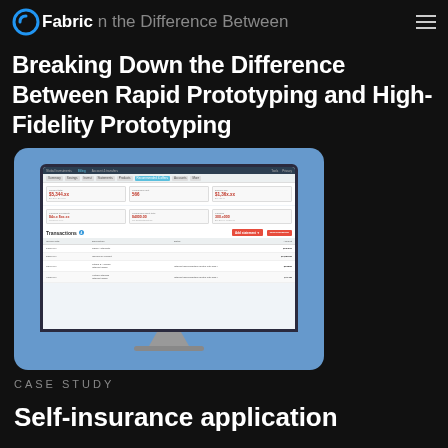Fabric — Breaking Down the Difference Between Rapid Prototyping and High-Fidelity Prototyping
Breaking Down the Difference Between Rapid Prototyping and High-Fidelity Prototyping
[Figure (screenshot): A desktop monitor mockup on a blue background displaying a financial web application UI with navigation tabs, statistics panels showing dollar values, and a Transactions table with rows listing dates, descriptions, details, and amounts.]
CASE STUDY
Self-insurance application